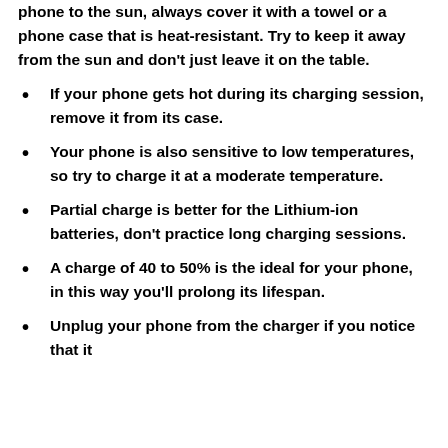phone to the sun, always cover it with a towel or a phone case that is heat-resistant. Try to keep it away from the sun and don't just leave it on the table.
If your phone gets hot during its charging session, remove it from its case.
Your phone is also sensitive to low temperatures, so try to charge it at a moderate temperature.
Partial charge is better for the Lithium-ion batteries, don't practice long charging sessions.
A charge of 40 to 50% is the ideal for your phone, in this way you'll prolong its lifespan.
Unplug your phone from the charger if you notice that it